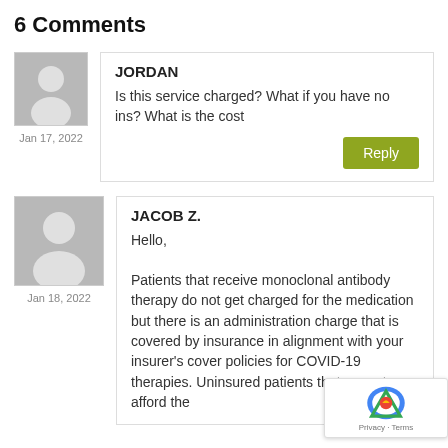6 Comments
JORDAN
Is this service charged? What if you have no ins? What is the cost
Jan 17, 2022
JACOB Z.
Hello,
Patients that receive monoclonal antibody therapy do not get charged for the medication but there is an administration charge that is covered by insurance in alignment with your insurer's cover policies for COVID-19 therapies. Uninsured patients that cannot afford the
Jan 18, 2022